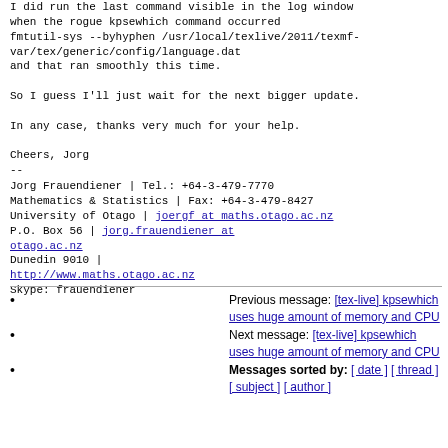I did run the last command visible in the log window when the rogue kpsewhich command occurred
fmtutil-sys --byhyphen /usr/local/texlive/2011/texmf-var/tex/generic/config/language.dat
and that ran smoothly this time.

So I guess I'll just wait for the next bigger update.

In any case, thanks very much for your help.

Cheers, Jorg
--
Jorg Frauendiener      | Tel.: +64-3-479-7770
Mathematics & Statistics | Fax:  +64-3-479-8427
University of Otago    | joergf at maths.otago.ac.nz
P.O. Box 56            | jorg.frauendiener at otago.ac.nz
Dunedin 9010           |
http://www.maths.otago.ac.nz
Skype: frauendiener
Previous message: [tex-live] kpsewhich uses huge amount of memory and CPU
Next message: [tex-live] kpsewhich uses huge amount of memory and CPU
Messages sorted by: [ date ] [ thread ] [ subject ] [ author ]